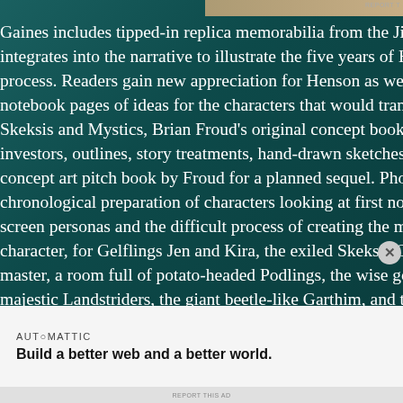Gaines includes tipped-in replica memorabilia from the Jim He integrates into the narrative to illustrate the five years of Hens process. Readers gain new appreciation for Henson as we witn notebook pages of ideas for the characters that would transfor Skeksis and Mystics, Brian Froud's original concept book crea investors, outlines, story treatments, hand-drawn sketches, so concept art pitch book by Froud for a planned sequel. Photog chronological preparation of characters looking at first nothin screen personas and the difficult process of creating the mech character, for Gelflings Jen and Kira, the exiled Skeksis Chamb master, a room full of potato-headed Podlings, the wise goddes majestic Landstriders, the giant beetle-like Garthim, and the c Fizzgig. The new fantasy world had its roots in myths and folk something singular with all these magicians that was akin
AUTOMATTIC
Build a better web and a better world.